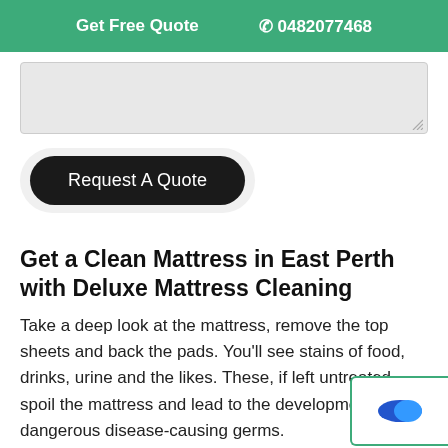Get Free Quote   0482077468
[Figure (screenshot): Grey textarea input field with resize handle]
Request A Quote
Get a Clean Mattress in East Perth with Deluxe Mattress Cleaning
Take a deep look at the mattress, remove the top sheets and back the pads. You'll see stains of food, drinks, urine and the likes. These, if left untreated, spoil the mattress and lead to the development of dangerous disease-causing germs.
Our skilled team of mattress cleaners in East Perth h...